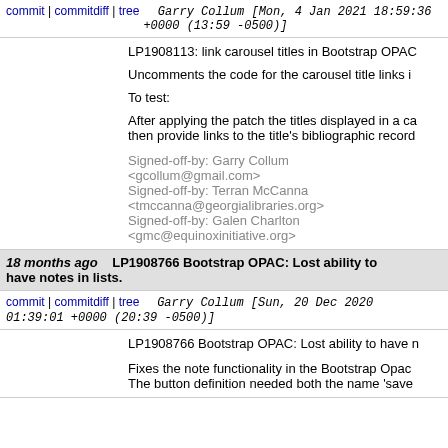commit | commitdiff | tree   Garry Collum [Mon, 4 Jan 2021 18:59:36 +0000 (13:59 -0500)]
LP1908113: link carousel titles in Bootstrap OPAC

Uncomments the code for the carousel title links i

To test:

After applying the patch the titles displayed in a ca then provide links to the title's bibliographic record

Signed-off-by: Garry Collum <gcollum@gmail.com>
Signed-off-by: Terran McCanna <tmccanna@georgialibraries.org>
Signed-off-by: Galen Charlton <gmc@equinoxinitiative.org>
18 months ago  LP1908766 Bootstrap OPAC: Lost ability to have notes in lists.
commit | commitdiff | tree   Garry Collum [Sun, 20 Dec 2020 01:39:01 +0000 (20:39 -0500)]
LP1908766 Bootstrap OPAC: Lost ability to have n

Fixes the note functionality in the Bootstrap Opac The button definition needed both the name 'save